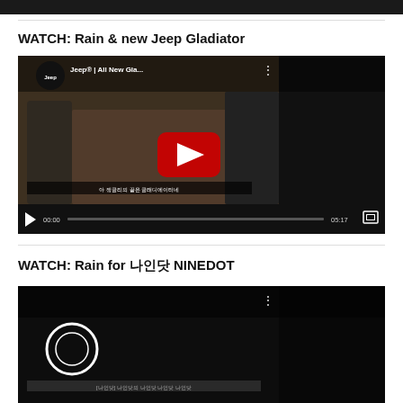[Figure (screenshot): Top partial dark video player bar]
WATCH: Rain & new Jeep Gladiator
[Figure (screenshot): YouTube embedded video player showing Jeep All New Gladiator with Rain, with play button, timestamp 00:00, duration 05:17, and Korean subtitle text]
WATCH: Rain for 나인닷 NINEDOT
[Figure (screenshot): Partial YouTube embedded video player showing a circular logo on dark background, partially cut off at bottom of page]